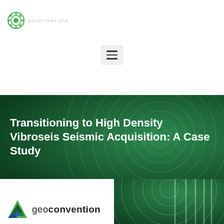[Figure (logo): Company logo with gear/cog icon and text 'SOLUTIONS LTD' in top left header area]
[Figure (other): Hamburger menu button (three horizontal lines) on white background]
[Figure (other): Green banner background with circular wave/ripple pattern in dark green]
Transitioning to High Density Vibroseis Seismic Acquisition: A Case Study
[Figure (other): Bottom section with partial green ripple/wave graphic on right side and GeoConvention logo on lower left]